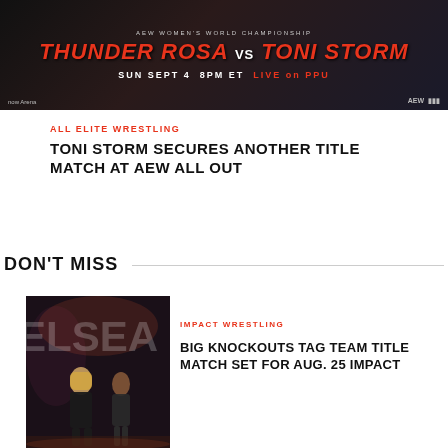[Figure (photo): AEW Women's World Championship promotional image: Thunder Rosa vs Toni Storm, Sun Sept 4 8PM ET Live on PPU, at NOW Arena]
ALL ELITE WRESTLING
TONI STORM SECURES ANOTHER TITLE MATCH AT AEW ALL OUT
DON'T MISS
[Figure (photo): Two female wrestlers on stage, one blonde in black outfit, another in dark outfit, with 'ELSEA' text visible in background]
IMPACT WRESTLING
BIG KNOCKOUTS TAG TEAM TITLE MATCH SET FOR AUG. 25 IMPACT